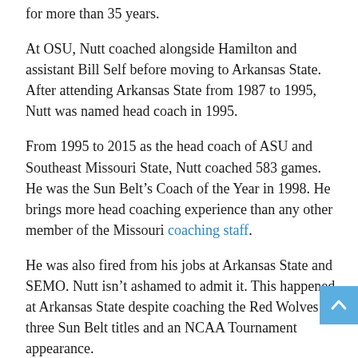for more than 35 years.
At OSU, Nutt coached alongside Hamilton and assistant Bill Self before moving to Arkansas State. After attending Arkansas State from 1987 to 1995, Nutt was named head coach in 1995.
From 1995 to 2015 as the head coach of ASU and Southeast Missouri State, Nutt coached 583 games. He was the Sun Belt’s Coach of the Year in 1998. He brings more head coaching experience than any other member of the Missouri coaching staff.
He was also fired from his jobs at Arkansas State and SEMO. Nutt isn’t ashamed to admit it. This happened at Arkansas State despite coaching the Red Wolves to three Sun Belt titles and an NCAA Tournament appearance.
“They say you lose about 10% of your popularity every year,” Nutt said. “I stayed there for 13 years. Do the math on that one.